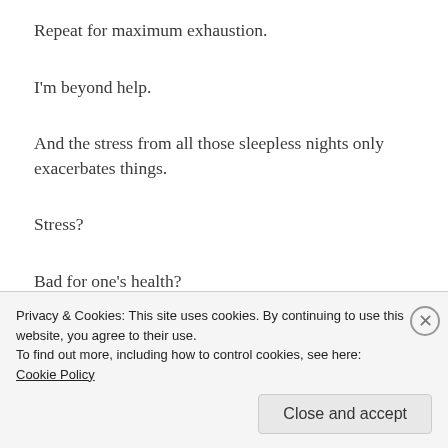Repeat for maximum exhaustion.
I'm beyond help.
And the stress from all those sleepless nights only exacerbates things.
Stress?
Bad for one's health?
No way!
Privacy & Cookies: This site uses cookies. By continuing to use this website, you agree to their use.
To find out more, including how to control cookies, see here: Cookie Policy
Close and accept